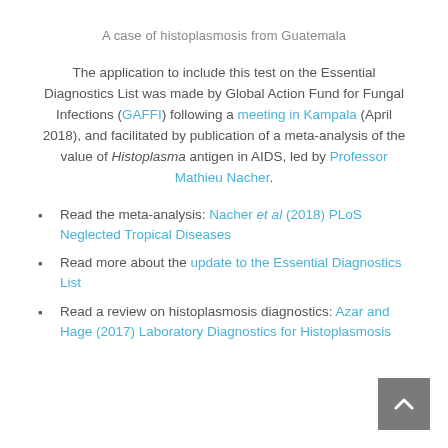A case of histoplasmosis from Guatemala
The application to include this test on the Essential Diagnostics List was made by Global Action Fund for Fungal Infections (GAFFI) following a meeting in Kampala (April 2018), and facilitated by publication of a meta-analysis of the value of Histoplasma antigen in AIDS, led by Professor Mathieu Nacher.
Read the meta-analysis: Nacher et al (2018) PLoS Neglected Tropical Diseases
Read more about the update to the Essential Diagnostics List
Read a review on histoplasmosis diagnostics: Azar and Hage (2017) Laboratory Diagnostics for Histoplasmosis